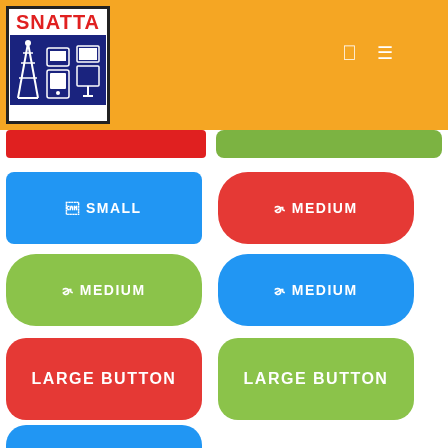[Figure (logo): SNATTA logo with red text on white background, telecom tower and telephone icons on dark blue background]
SMALL
MEDIUM
MEDIUM
MEDIUM
LARGE BUTTON
LARGE BUTTON
LARGE BUTTON